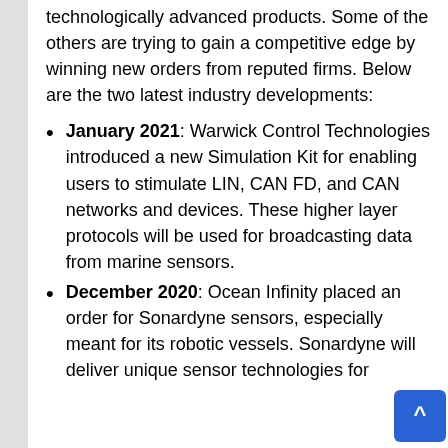technologically advanced products. Some of the others are trying to gain a competitive edge by winning new orders from reputed firms. Below are the two latest industry developments:
January 2021: Warwick Control Technologies introduced a new Simulation Kit for enabling users to stimulate LIN, CAN FD, and CAN networks and devices. These higher layer protocols will be used for broadcasting data from marine sensors.
December 2020: Ocean Infinity placed an order for Sonardyne sensors, especially meant for its robotic vessels. Sonardyne will deliver unique sensor technologies for